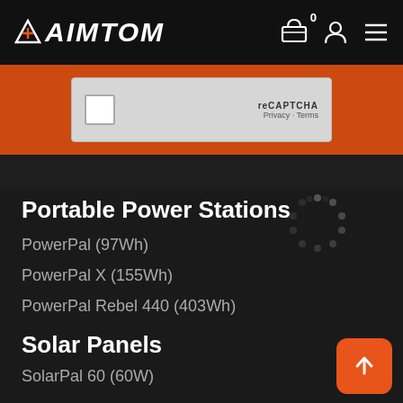AIMTOM
[Figure (screenshot): reCAPTCHA widget with checkbox and 'Privacy - Terms' links on an orange background]
Portable Power Stations
PowerPal (97Wh)
PowerPal X (155Wh)
PowerPal Rebel 440 (403Wh)
Solar Panels
SolarPal 60 (60W)
SolarPal 80 (80W)
SolarPal 100 (100W)